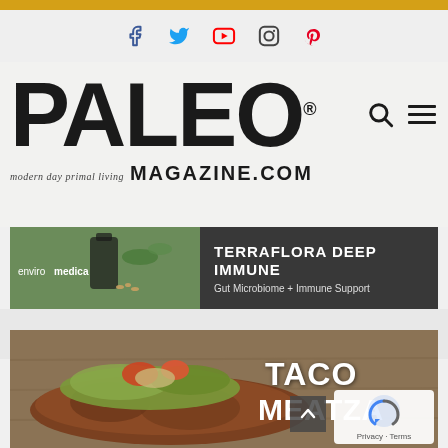Social media icons: Facebook, Twitter, YouTube, Instagram, Pinterest
[Figure (logo): PALEO Magazine logo with tagline 'modern day primal living' and MAGAZINE.COM, with search and hamburger menu icons]
[Figure (photo): enviromedica Terraflora Deep Immune advertisement banner showing supplement bottle and pills with text 'TERRAFLORA DEEP IMMUNE Gut Microbiome + Immune Support']
[Figure (photo): Food photo of Taco Meatza with lettuce, tomato, and meat on a wooden surface, with text overlay 'TACO MEATZA']